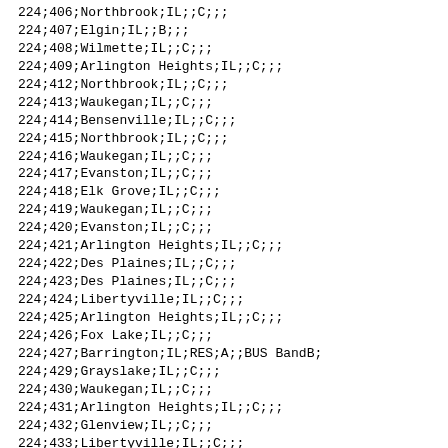| 224;406;Northbrook;IL;;C;;; |
| 224;407;Elgin;IL;;B;;; |
| 224;408;Wilmette;IL;;C;;; |
| 224;409;Arlington Heights;IL;;C;;; |
| 224;412;Northbrook;IL;;C;;; |
| 224;413;Waukegan;IL;;C;;; |
| 224;414;Bensenville;IL;;C;;; |
| 224;415;Northbrook;IL;;C;;; |
| 224;416;Waukegan;IL;;C;;; |
| 224;417;Evanston;IL;;C;;; |
| 224;418;Elk Grove;IL;;C;;; |
| 224;419;Waukegan;IL;;C;;; |
| 224;420;Evanston;IL;;C;;; |
| 224;421;Arlington Heights;IL;;C;;; |
| 224;422;Des Plaines;IL;;C;;; |
| 224;423;Des Plaines;IL;;C;;; |
| 224;424;Libertyville;IL;;C;;; |
| 224;425;Arlington Heights;IL;;C;;; |
| 224;426;Fox Lake;IL;;C;;; |
| 224;427;Barrington;IL;RES;A;;BUS BandB; |
| 224;429;Grayslake;IL;;C;;; |
| 224;430;Waukegan;IL;;C;;; |
| 224;431;Arlington Heights;IL;;C;;; |
| 224;432;Glenview;IL;;C;;; |
| 224;433;Libertyville;IL;;C;;; |
| 224;434;Wheeling;IL;;C;;; |
| 224;435;Glenview;IL;;C;;; |
| 224;436;Lake Forest;IL;;C;;; |
| 224;437;Wheeling;IL;;C;;; |
| 224;438;Lake Zurich;IL;;B;;; |